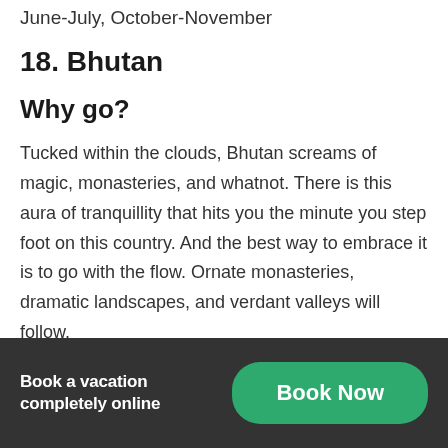June-July, October-November
18. Bhutan
Why go?
Tucked within the clouds, Bhutan screams of magic, monasteries, and whatnot. There is this aura of tranquillity that hits you the minute you step foot on this country. And the best way to embrace it is to go with the flow. Ornate monasteries, dramatic landscapes, and verdant valleys will follow.
Get your free Bhutan quote here.
Book a vacation completely online  Book Now